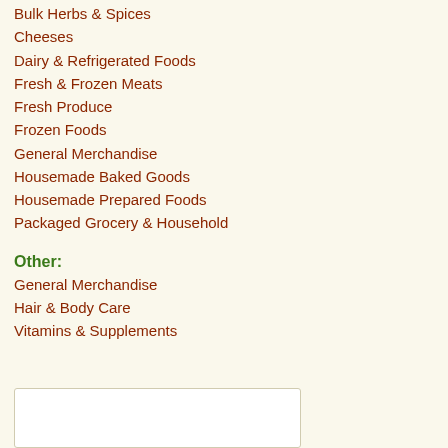Bulk Herbs & Spices
Cheeses
Dairy & Refrigerated Foods
Fresh & Frozen Meats
Fresh Produce
Frozen Foods
General Merchandise
Housemade Baked Goods
Housemade Prepared Foods
Packaged Grocery & Household
Other:
General Merchandise
Hair & Body Care
Vitamins & Supplements
[Figure (other): White rectangular box at bottom of page]